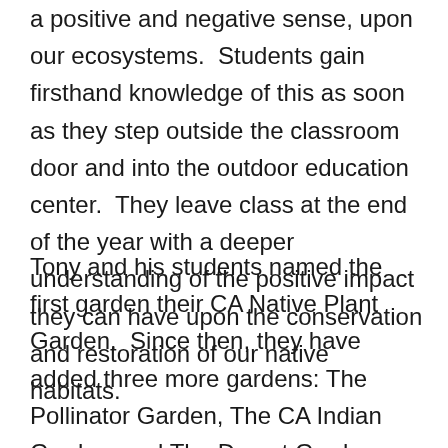a positive and negative sense, upon our ecosystems. Students gain firsthand knowledge of this as soon as they step outside the classroom door and into the outdoor education center. They leave class at the end of the year with a deeper understanding of the positive impact they can have upon the conservation and restoration of our native habitats.
Tony and his students named the first garden their CA Native Plant Garden. Since then, they have added three more gardens: The Pollinator Garden, The CA Indian Garden, and The Desert Garden. These gardens have been constructed with the help of biology students, Ecology Club members, Boy and Girl Scouts, sports team members, elementary and middle school students, parents and community members. Tony